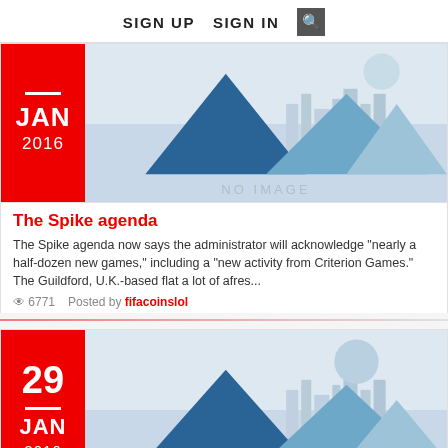SIGN UP  SIGN IN  🔍
[Figure (illustration): No image placeholder with mountain/cityscape silhouette graphic, date box showing JAN 2016]
The Spike agenda
The Spike agenda now says the administrator will acknowledge "nearly a half-dozen new games," including a "new activity from Criterion Games." The Guildford, U.K.-based flat a lot of afres...
👁 6771   Posted by fifacoinslol
[Figure (illustration): No image placeholder with mountain/cityscape silhouette graphic, date box showing 29 JAN 2016]